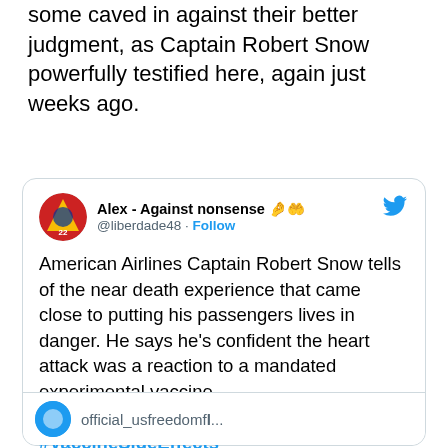some caved in against their better judgment, as Captain Robert Snow powerfully testified here, again just weeks ago.
[Figure (screenshot): Embedded tweet from @liberdade48 (Alex - Against nonsense) describing American Airlines Captain Robert Snow's near-death experience linked to a mandated experimental vaccine, with hashtags #EndTheMandates #VaccineSideEffects #VaccineDeaths]